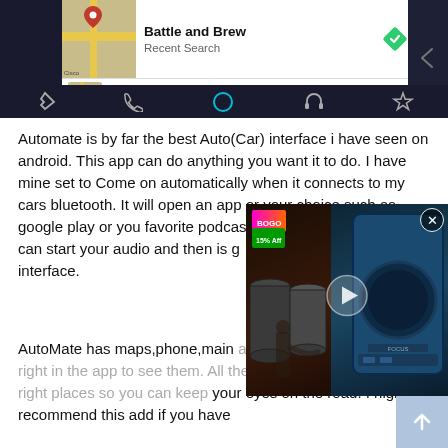[Figure (screenshot): Android Auto / Automate app screenshot showing a search result for 'Battle and Brew' (labeled as Recent Search) with a map thumbnail, a navigation bar at the bottom with icons for navigation, phone, home (highlighted in teal), headphones, and star.]
Automate is by far the best Auto(Car) interface i have seen on android. This app can do anything you want it to do. I have mine set to Come on automatically when it connects to my cars bluetooth. It will open an app or your choice such as google play or you favorite podcast app automatically so you can start your audio and then is g interface.
AutoMate has maps,phone,main apps screens. Swipe left and right in the app to see them. All the buttons are big and in the right places so you can keep your eyes on the road. I highly recommend this add if you have
[Figure (screenshot): Embedded video overlay showing what appears to be a laundromat or drum/barrel shop scene with neon signs, overlaid on the review text. Has a play button in the center and a close (X) button in the top right.]